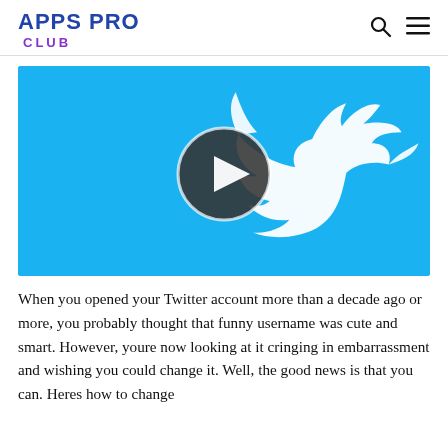APPS PRO CLUB
[Figure (screenshot): Twitter logo on blue background with a circular play button overlay, indicating a video thumbnail]
When you opened your Twitter account more than a decade ago or more, you probably thought that funny username was cute and smart. However, youre now looking at it cringing in embarrassment and wishing you could change it. Well, the good news is that you can. Heres how to change